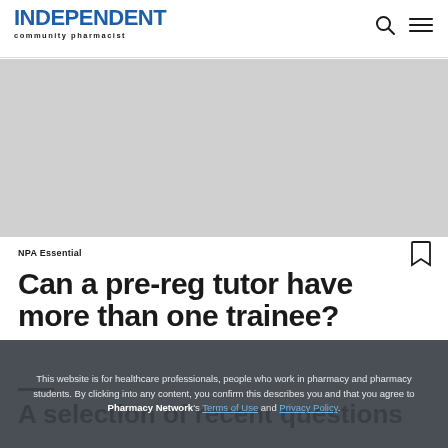INDEPENDENT community pharmacist
[Figure (other): Gray advertisement/banner placeholder area]
NPA Essential
Can a pre-reg tutor have more than one trainee?
A selection of recent questions
This website is for healthcare professionals, people who work in pharmacy and pharmacy students. By clicking into any content, you confirm this describes you and that you agree to Pharmacy Network's Terms of Use and Privacy Policy.